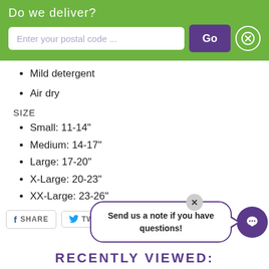Do we deliver?
[Figure (screenshot): Postal code search bar with 'Enter your postal code ...' placeholder, a purple 'Go' button, and a circled X button]
Mild detergent
Air dry
SIZE
Small: 11-14"
Medium: 14-17"
Large: 17-20"
X-Large: 20-23"
XX-Large: 23-26"
[Figure (screenshot): Social share buttons: SHARE (Facebook), TWEET (Twitter), PIN IT (Pinterest)]
[Figure (screenshot): Chat bubble saying 'Send us a note if you have questions!' with a close X button and purple chat icon button]
RECENTLY VIEWED: